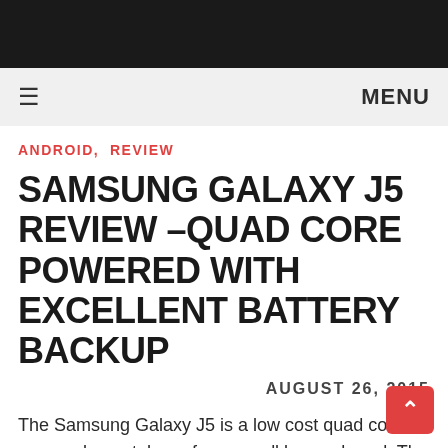≡  MENU
ANDROID, REVIEW
SAMSUNG GALAXY J5 REVIEW –QUAD CORE POWERED WITH EXCELLENT BATTERY BACKUP
AUGUST 26, 2015
The Samsung Galaxy J5 is a low cost quad core powered smartphone from a well known brand. The J5 comes packed with added features and also misses some features but with the price tag of ₹11,999 they